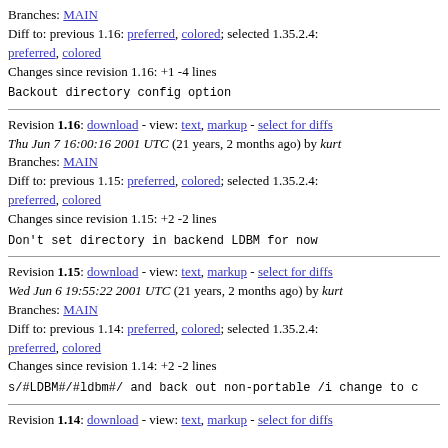Branches: MAIN
Diff to: previous 1.16: preferred, colored; selected 1.35.2.4: preferred, colored
Changes since revision 1.16: +1 -4 lines
Backout directory config option
Revision 1.16: download - view: text, markup - select for diffs
Thu Jun 7 16:00:16 2001 UTC (21 years, 2 months ago) by kurt
Branches: MAIN
Diff to: previous 1.15: preferred, colored; selected 1.35.2.4: preferred, colored
Changes since revision 1.15: +2 -2 lines
Don't set directory in backend LDBM for now
Revision 1.15: download - view: text, markup - select for diffs
Wed Jun 6 19:55:22 2001 UTC (21 years, 2 months ago) by kurt
Branches: MAIN
Diff to: previous 1.14: preferred, colored; selected 1.35.2.4: preferred, colored
Changes since revision 1.14: +2 -2 lines
s/#LDBM#/#ldbm#/ and back out non-portable /i change to c
Revision 1.14: download - view: text, markup - select for diffs